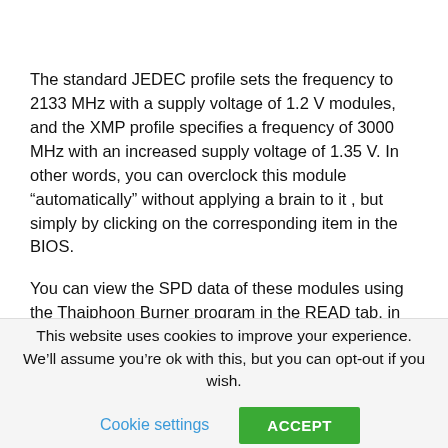[Figure (screenshot): Two CPU-Z application windows showing Command Rate and Voltage rows (1.20V, 1.20V, 1.20V, 1.350V) with Tools, Validate, Close buttons]
The standard JEDEC profile sets the frequency to 2133 MHz with a supply voltage of 1.2 V modules, and the XMP profile specifies a frequency of 3000 MHz with an increased supply voltage of 1.35 V. In other words, you can overclock this module “automatically” without applying a brain to it , but simply by clicking on the corresponding item in the BIOS.
You can view the SPD data of these modules using the Thaiphoon Burner program in the READ tab, in more detail in the REPORT tab.
This website uses cookies to improve your experience. We’ll assume you’re ok with this, but you can opt-out if you wish.
Cookie settings    ACCEPT